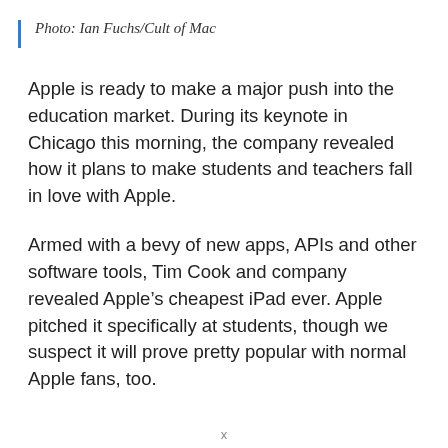Photo: Ian Fuchs/Cult of Mac
Apple is ready to make a major push into the education market. During its keynote in Chicago this morning, the company revealed how it plans to make students and teachers fall in love with Apple.
Armed with a bevy of new apps, APIs and other software tools, Tim Cook and company revealed Apple’s cheapest iPad ever. Apple pitched it specifically at students, though we suspect it will prove pretty popular with normal Apple fans, too.
x